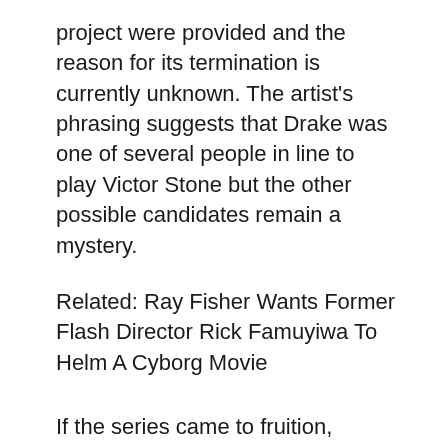project were provided and the reason for its termination is currently unknown. The artist's phrasing suggests that Drake was one of several people in line to play Victor Stone but the other possible candidates remain a mystery.
Related: Ray Fisher Wants Former Flash Director Rick Famuyiwa To Helm A Cyborg Movie
If the series came to fruition, Drake would have been the fourth actor to step into Cyborg's robotic body. Previous live-action portrayals of the character include Lee Thompson Young in Smallville, Ray Fisher in Batman v Superman: Dawn of Justice, Justice League and Tom Cavanagh in The Flash.